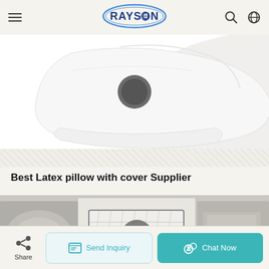RAYSON (logo with hamburger menu, search and globe icons)
[Figure (photo): White latex pillow with cover product photo, top portion visible on light background]
Best Latex pillow with cover Supplier
[Figure (photo): Product gallery showing three product images: blurred pillow on left, central mattress product with video play button overlay, blurred mattress on right]
Share
Send Inquiry
Chat Now